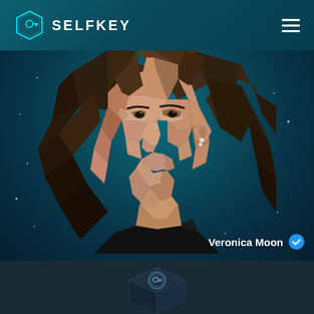SELFKEY
[Figure (illustration): Low-poly geometric art portrait of a woman (Veronica Moon) with brown hair and a dark top, set against a dark teal starfield background. A blue verified checkmark badge is displayed next to her name.]
Veronica Moon
[Figure (illustration): Partial isometric hexagonal box/vault icon at bottom center with a SelfKey logo medallion, set against a dark navy background.]